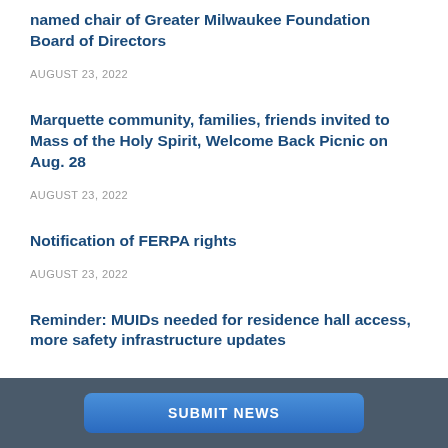named chair of Greater Milwaukee Foundation Board of Directors
AUGUST 23, 2022
Marquette community, families, friends invited to Mass of the Holy Spirit, Welcome Back Picnic on Aug. 28
AUGUST 23, 2022
Notification of FERPA rights
AUGUST 23, 2022
Reminder: MUIDs needed for residence hall access, more safety infrastructure updates
AUGUST 23, 2022
SUBMIT NEWS